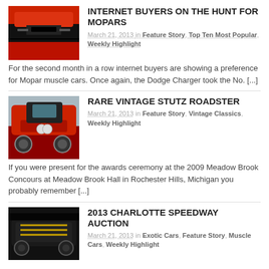[Figure (photo): Red Dodge Charger muscle car front view]
INTERNET BUYERS ON THE HUNT FOR MOPARS
March 21, 2013 in Feature Story, Top Ten Most Popular, Weekly Highlight
For the second month in a row internet buyers are showing a preference for Mopar muscle cars. Once again, the Dodge Charger took the No. [...]
[Figure (photo): Red vintage Stutz Roadster classic car]
RARE VINTAGE STUTZ ROADSTER
March 21, 2013 in Feature Story, Vintage Classics, Weekly Highlight
If you were present for the awards ceremony at the 2009 Meadow Brook Concours at Meadow Brook Hall in Rochester Hills, Michigan you probably remember [...]
[Figure (photo): Black muscle car with gold stripes at Charlotte Speedway]
2013 CHARLOTTE SPEEDWAY AUCTION
March 21, 2013 in Exotic Cars, Feature Story, Muscle Cars, Weekly Highlight